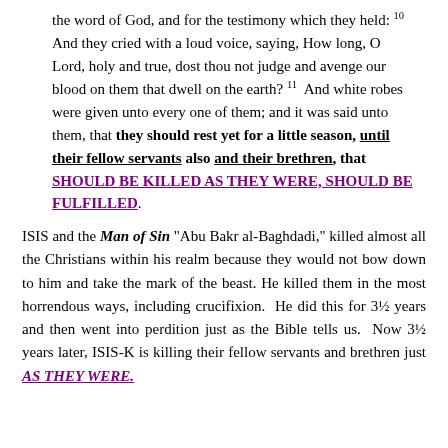the word of God, and for the testimony which they held: 10 And they cried with a loud voice, saying, How long, O Lord, holy and true, dost thou not judge and avenge our blood on them that dwell on the earth? 11 And white robes were given unto every one of them; and it was said unto them, that they should rest yet for a little season, until their fellow servants also and their brethren, that SHOULD BE KILLED AS THEY WERE, SHOULD BE FULFILLED.
ISIS and the Man of Sin "Abu Bakr al-Baghdadi," killed almost all the Christians within his realm because they would not bow down to him and take the mark of the beast. He killed them in the most horrendous ways, including crucifixion. He did this for 3½ years and then went into perdition just as the Bible tells us. Now 3½ years later, ISIS-K is killing their fellow servants and brethren just AS THEY WERE.